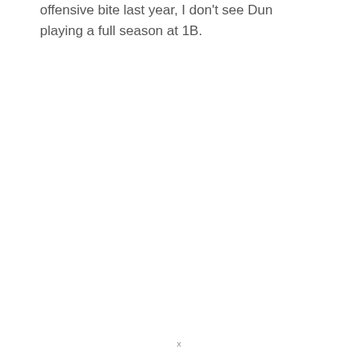offensive bite last year, I don't see Dun playing a full season at 1B.
x